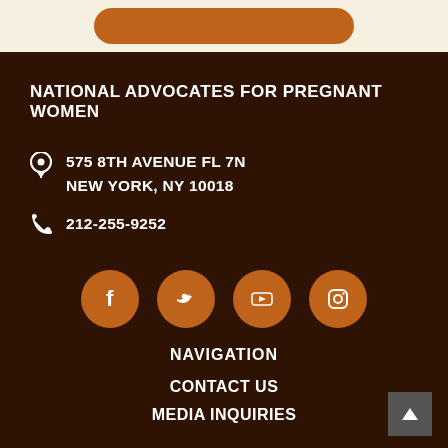[Figure (other): Orange rounded button partially visible at top of page on cream background]
NATIONAL ADVOCATES FOR PREGNANT WOMEN
575 8TH AVENUE FL 7N NEW YORK, NY 10018
212-255-9252
[Figure (infographic): Four orange circular social media icons: Facebook, Twitter, YouTube, Instagram]
NAVIGATION
CONTACT US
MEDIA INQUIRIES
[Figure (other): Back to top arrow button in grey square, bottom right corner]